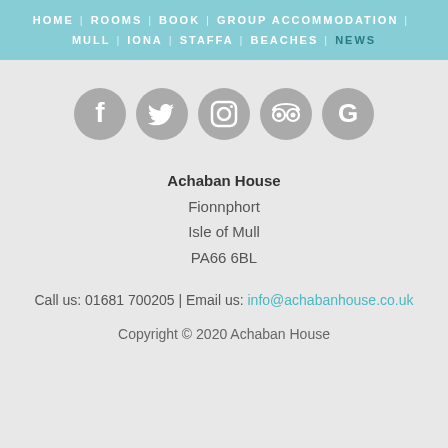HOME | ROOMS | BOOK | GROUP ACCOMMODATION | MULL | IONA | STAFFA | BEACHES | NEWS
[Figure (other): Row of five social media icon circles (Facebook, Twitter, Instagram, TripAdvisor, Google) in grey]
Achaban House
Fionnphort
Isle of Mull
PA66 6BL
Call us: 01681 700205 | Email us: info@achabanhouse.co.uk
Copyright © 2020 Achaban House